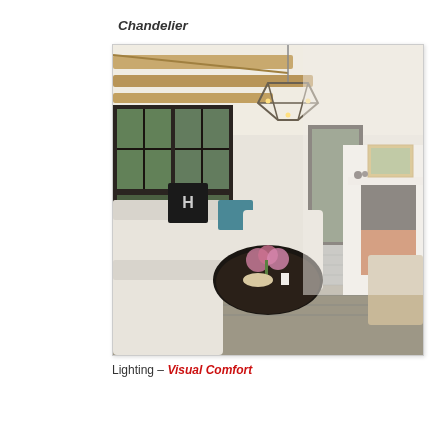Chandelier
[Figure (photo): Interior living room photo showing a sophisticated space with wooden ceiling beams, large dark-framed windows, white upholstered sofas with decorative pillows, a dark round coffee table with flowers, a grey area rug, a white fireplace mantel with art and decorative objects, and a geometric metal chandelier hanging from the ceiling.]
Lighting – Visual Comfort